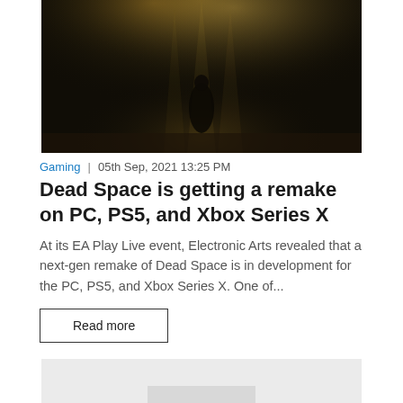[Figure (photo): Dark atmospheric game screenshot showing a figure under spotlights in a dark environment, likely Dead Space game imagery]
Gaming  |  05th Sep, 2021 13:25 PM
Dead Space is getting a remake on PC, PS5, and Xbox Series X
At its EA Play Live event, Electronic Arts revealed that a next-gen remake of Dead Space is in development for the PC, PS5, and Xbox Series X. One of...
Read more
[Figure (photo): Partially visible image at the bottom of the page, mostly gray/light colored]